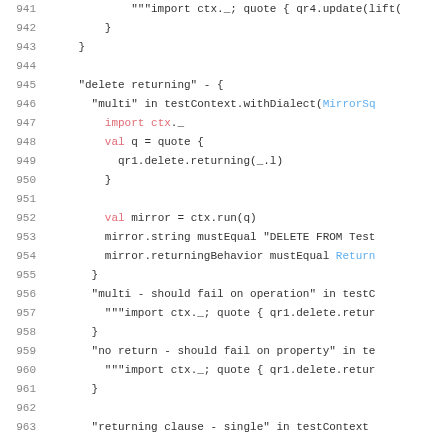[Figure (screenshot): Source code listing showing Scala test code for database operations, lines 941–963, with syntax highlighting. Keywords in red, identifiers in blue/purple, line numbers in gray.]